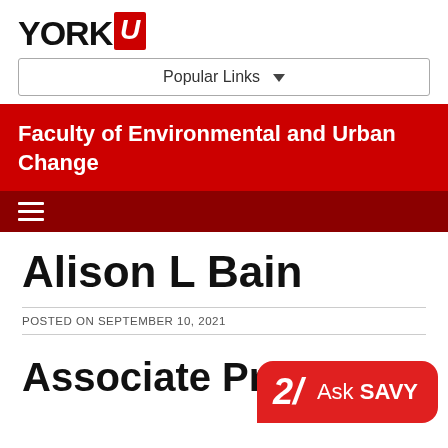[Figure (logo): York University logo: YORK in bold black text with a red italic U block]
Popular Links ▼
Faculty of Environmental and Urban Change
[Figure (other): Dark red navigation bar with hamburger menu icon]
Alison L Bain
POSTED ON SEPTEMBER 10, 2021
Associate Professor
[Figure (other): Ask SAVY red speech bubble with logo icon and text 'Ask SAVY']